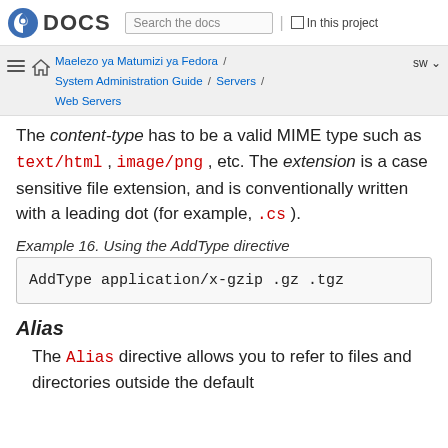Fedora DOCS | Search the docs | In this project
Maelezo ya Matumizi ya Fedora / System Administration Guide / Servers / Web Servers | sw
The content-type has to be a valid MIME type such as text/html, image/png, etc. The extension is a case sensitive file extension, and is conventionally written with a leading dot (for example, .cs ).
Example 16. Using the AddType directive
| AddType application/x-gzip .gz .tgz |
Alias
The Alias directive allows you to refer to files and directories outside the default